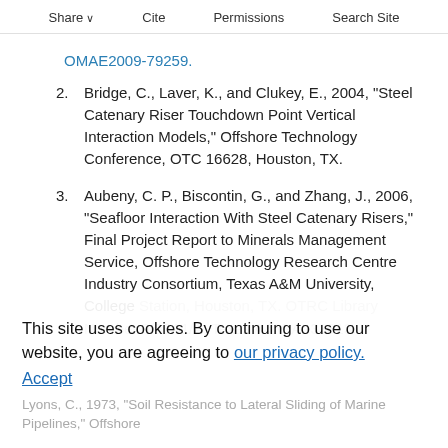Share   Cite   Permissions   Search Site
OMAE2009-79259.
Bridge, C., Laver, K., and Clukey, E., 2004, “Steel Catenary Riser Touchdown Point Vertical Interaction Models,” Offshore Technology Conference, OTC 16628, Houston, TX.
Aubeny, C. P., Biscontin, G., and Zhang, J., 2006, “Seafloor Interaction With Steel Catenary Risers,” Final Project Report to Minerals Management Service, Offshore Technology Research Centre Industry Consortium, Texas A&M University, College Station, Houston, TX. OTRC Library Number 9/06A1/A; Texas A&M-At-33813.
This site uses cookies. By continuing to use our website, you are agreeing to our privacy policy. Accept